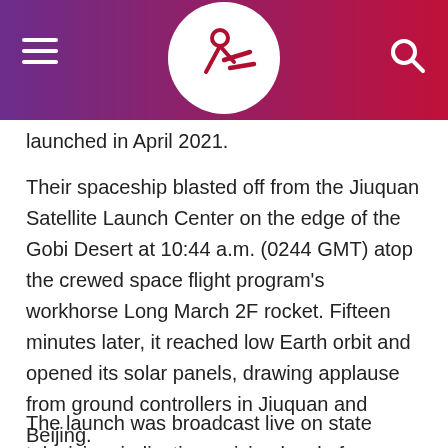Navigation header with hamburger menu, logo, and search icon
launched in April 2021.
Their spaceship blasted off from the Jiuquan Satellite Launch Center on the edge of the Gobi Desert at 10:44 a.m. (0244 GMT) atop the crewed space flight program's workhorse Long March 2F rocket. Fifteen minutes later, it reached low Earth orbit and opened its solar panels, drawing applause from ground controllers in Jiuquan and Beijing.
The launch was broadcast live on state television, indicating a rising level of confidence